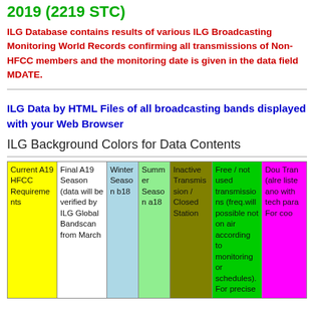2019 (2219 STC)
ILG Database contains results of various ILG Broadcasting Monitoring World Records confirming all transmissions of Non-HFCC members and the monitoring date is given in the data field MDATE.
ILG Data by HTML Files of all broadcasting bands displayed with your Web Browser
ILG Background Colors for Data Contents
| Current A19 HFCC Requirements | Final A19 Season (data will be verified by ILG Global Bandscan from March | Winter Season b18 | Summer Season a18 | Inactive Transmission / Closed Station | Free / not used transmissions (freq.will possible not on air according to monitoring or schedules). For precise | Dou Tran (alre liste ano with tech para For coo |
| --- | --- | --- | --- | --- | --- | --- |